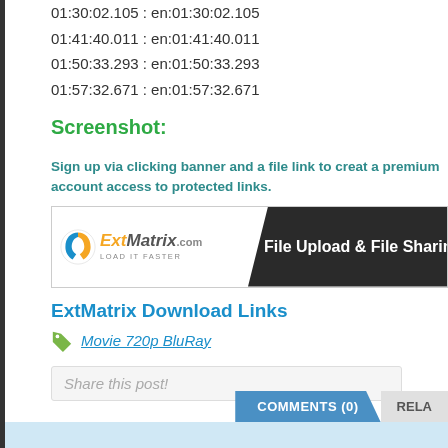01:30:02.105 : en:01:30:02.105
01:41:40.011 : en:01:41:40.011
01:50:33.293 : en:01:50:33.293
01:57:32.671 : en:01:57:32.671
Screenshot:
Sign up via clicking banner and a file link to creat a premium account access to protected links.
[Figure (screenshot): ExtMatrix.com banner — logo with spinning arrow icon, text 'ExtMatrix.com LOAD IT FASTER' on white background, and 'File Upload & File Sharing made e' on dark background]
ExtMatrix Download Links
Movie 720p BluRay
Share this post!